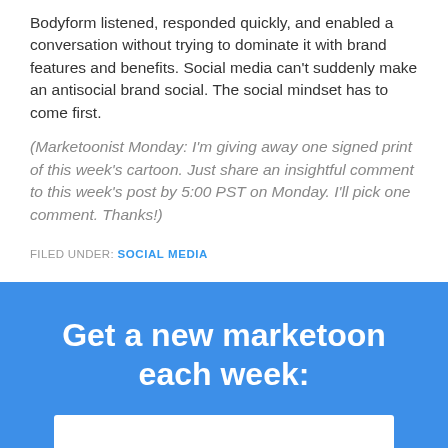Bodyform listened, responded quickly, and enabled a conversation without trying to dominate it with brand features and benefits. Social media can't suddenly make an antisocial brand social. The social mindset has to come first.
(Marketoonist Monday: I'm giving away one signed print of this week's cartoon. Just share an insightful comment to this week's post by 5:00 PST on Monday. I'll pick one comment. Thanks!)
FILED UNDER: SOCIAL MEDIA
Get a new marketoon each week: